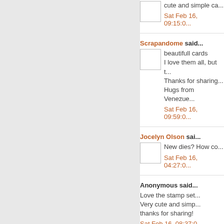cute and simple ca...
Sat Feb 16, 09:15:0...
Scrapandome said...
beautifull cards
I love them all, but t...
Thanks for sharing...
Hugs from Venezue...
Sat Feb 16, 09:59:0...
Jocelyn Olson sai...
New dies? How co...
Sat Feb 16, 04:27:0...
Anonymous said...
Love the stamp set...
Very cute and simp...
thanks for sharing!
Sat Feb 16, 08:37:0...
JJ Bolton said...